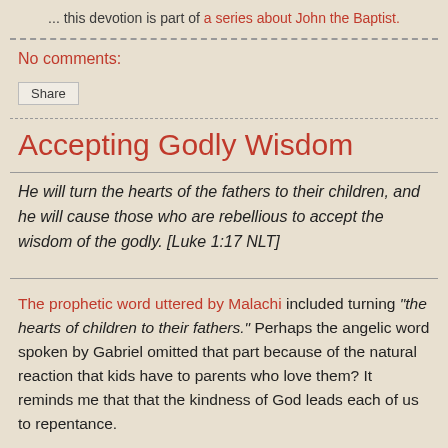... this devotion is part of a series about John the Baptist.
No comments:
Share
Accepting Godly Wisdom
He will turn the hearts of the fathers to their children, and he will cause those who are rebellious to accept the wisdom of the godly. [Luke 1:17 NLT]
The prophetic word uttered by Malachi included turning "the hearts of children to their fathers." Perhaps the angelic word spoken by Gabriel omitted that part because of the natural reaction that kids have to parents who love them? It reminds me that that the kindness of God leads each of us to repentance.